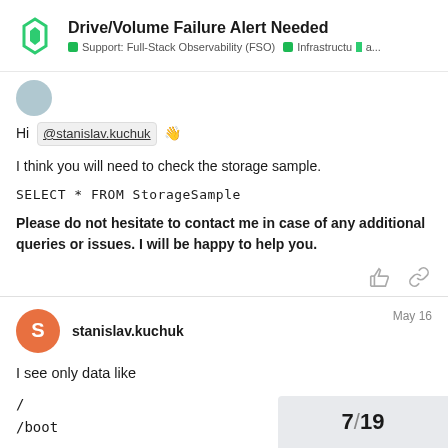Drive/Volume Failure Alert Needed | Support: Full-Stack Observability (FSO) | Infrastructure a...
Hi @stanislav.kuchuk 👋
I think you will need to check the storage sample.
Please do not hesitate to contact me in case of any additional queries or issues. I will be happy to help you.
stanislav.kuchuk  May 16
I see only data like
/
/boot
7/19